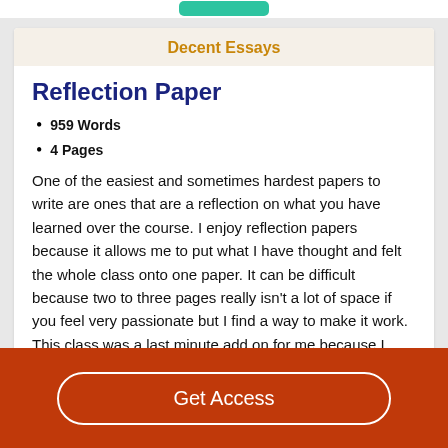Decent Essays
Reflection Paper
959 Words
4 Pages
One of the easiest and sometimes hardest papers to write are ones that are a reflection on what you have learned over the course. I enjoy reflection papers because it allows me to put what I have thought and felt the whole class onto one paper. It can be difficult because two to three pages really isn't a lot of space if you feel very passionate but I find a way to make it work. This class was a last minute add on for me because I
Get Access